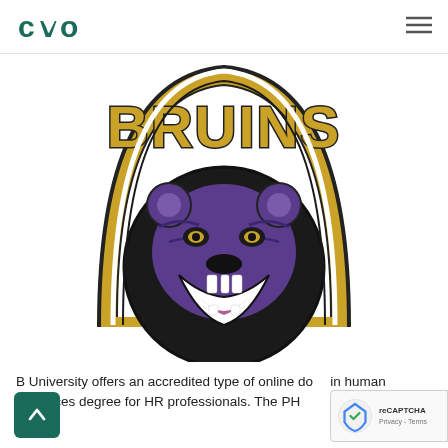[Figure (logo): CVO logo — stylized letters C, V, O in teal/dark green]
[Figure (illustration): Bruins mascot logo: large golden arched 'BRUINS' text with white outline over a roaring purple bear head on a black circular background]
B... University offers an accredited type of online d... in human resources degree for HR professionals. The PH...